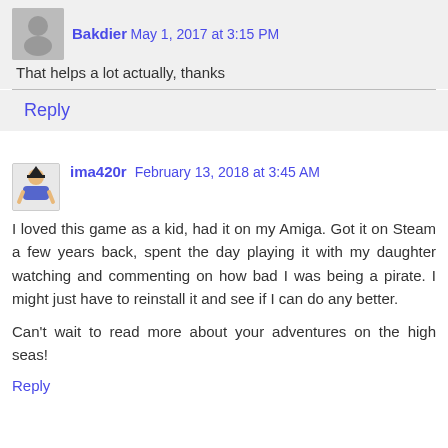Bakdier May 1, 2017 at 3:15 PM
That helps a lot actually, thanks
Reply
ima420r  February 13, 2018 at 3:45 AM
I loved this game as a kid, had it on my Amiga. Got it on Steam a few years back, spent the day playing it with my daughter watching and commenting on how bad I was being a pirate. I might just have to reinstall it and see if I can do any better.

Can't wait to read more about your adventures on the high seas!
Reply
Anonymous  April 18, 2018 at 3:12 AM
I reckon the 2004 remake has 8 of your 10 elements that make an RPG — only 2 (character progression) and 2...